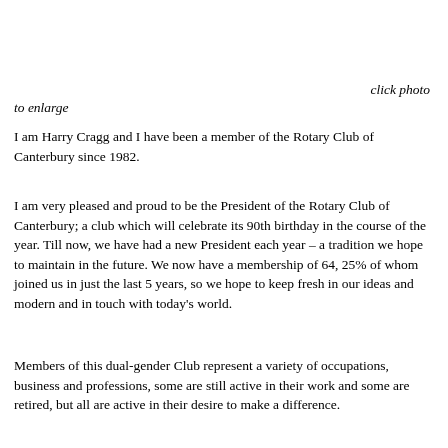click photo to enlarge
I am Harry Cragg and I have been a member of the Rotary Club of Canterbury since 1982.
I am very pleased and proud to be the President of the Rotary Club of Canterbury; a club which will celebrate its 90th birthday in the course of the year. Till now, we have had a new President each year – a tradition we hope to maintain in the future. We now have a membership of 64, 25% of whom joined us in just the last 5 years, so we hope to keep fresh in our ideas and modern and in touch with today’s world.
Members of this dual-gender Club represent a variety of occupations, business and professions, some are still active in their work and some are retired, but all are active in their desire to make a difference.